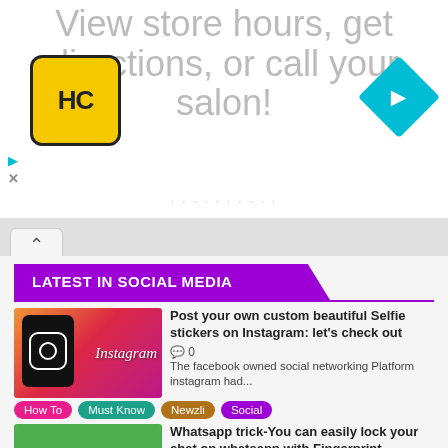[Figure (screenshot): Advertisement banner showing HC logo, text 'View store hours, get directions, or call your salon!' with a cyan navigation diamond icon, play and close controls]
LATEST IN SOCIAL MEDIA
[Figure (photo): Instagram app on a tablet with colorful gradient background]
Post your own custom beautiful Selfie stickers on Instagram: let's check out
💬 0
The facebook owned social networking Platform instagram had...
How To
Must Know
Newzli
Social
[Figure (photo): WhatsApp Fingerprint Lock promotional image on green background]
Whatsapp trick-You can easily lock your chat on whatsapp with Fingerprint
💬 0
Whatsapp is the most